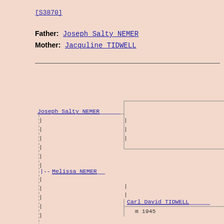[S3870]
Father: Joseph Salty NEMER
Mother: Jacquline TIDWELL
[Figure (organizational-chart): Genealogy family tree diagram showing Joseph Salty NEMER connected to children including Melissa NEMER, with Carl David TIDWELL and marriage year m 1945 shown on the right branch. Lines connect family members in a tree structure with dashed vertical lines for siblings.]